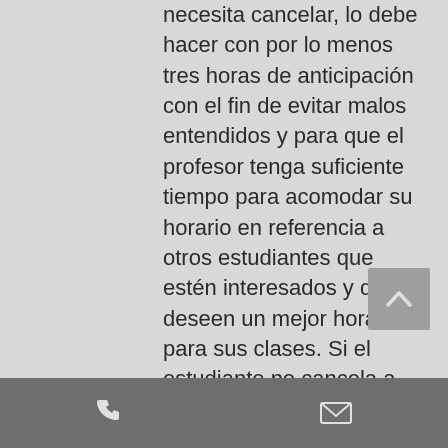necesita cancelar, lo debe hacer con por lo menos tres horas de anticipación con el fin de evitar malos entendidos y para que el profesor tenga suficiente tiempo para acomodar su horario en referencia a otros estudiantes que estén interesados y que deseen un mejor horario para sus clases. Si el estudiante no cancela a tiempo se le pedirá que page en avanzado antes de su próxima clase. Esto con el fin de asegurar que el tiempo que el profesor separe para el alumno no sea una pérdida para él/ella.
2. Si al estudiante se le pide que page con anticipación y aun así no